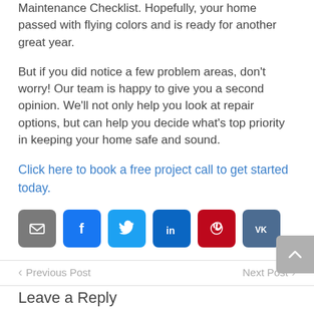Maintenance Checklist. Hopefully, your home passed with flying colors and is ready for another great year.
But if you did notice a few problem areas, don't worry! Our team is happy to give you a second opinion. We'll not only help you look at repair options, but can help you decide what's top priority in keeping your home safe and sound.
Click here to book a free project call to get started today.
[Figure (infographic): Social share buttons: email (gray), Facebook (blue), Twitter (light blue), LinkedIn (dark blue), Pinterest (red), VK (dark blue-gray)]
< Previous Post    Next Post >
Leave a Reply